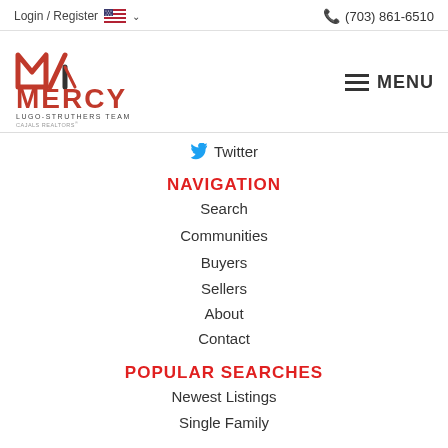Login / Register  (703) 861-6510
[Figure (logo): Mercy Lugo-Struthers Team logo with red M graphic and MERCY text]
Twitter
NAVIGATION
Search
Communities
Buyers
Sellers
About
Contact
POPULAR SEARCHES
Newest Listings
Single Family